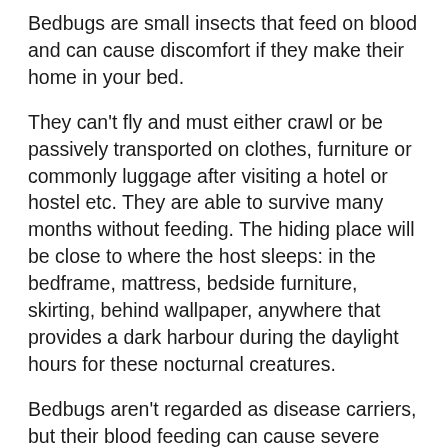Bedbugs are small insects that feed on blood and can cause discomfort if they make their home in your bed.
They can't fly and must either crawl or be passively transported on clothes, furniture or commonly luggage after visiting a hotel or hostel etc. They are able to survive many months without feeding. The hiding place will be close to where the host sleeps: in the bedframe, mattress, bedside furniture, skirting, behind wallpaper, anywhere that provides a dark harbour during the daylight hours for these nocturnal creatures.
Bedbugs aren't regarded as disease carriers, but their blood feeding can cause severe irritation to some people. The bite often gives rise to a whitish, hard swelling which distinguishes it from a flea bite, which leaves a dark red spot surrounded by a